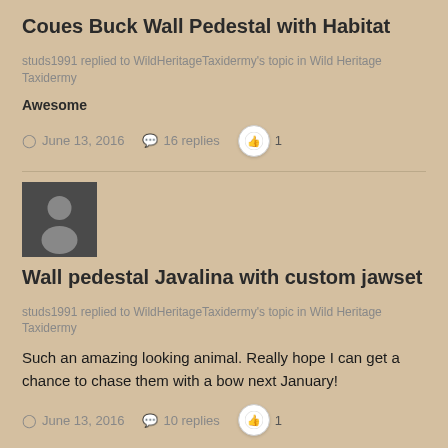Coues Buck Wall Pedestal with Habitat
studs1991 replied to WildHeritageTaxidermy's topic in Wild Heritage Taxidermy
Awesome
June 13, 2016   16 replies   1
[Figure (photo): User avatar placeholder icon (grey silhouette on dark background)]
Wall pedestal Javalina with custom jawset
studs1991 replied to WildHeritageTaxidermy's topic in Wild Heritage Taxidermy
Such an amazing looking animal. Really hope I can get a chance to chase them with a bow next January!
June 13, 2016   10 replies   1
[Figure (photo): User avatar placeholder icon (grey silhouette on dark background), partially visible at bottom]